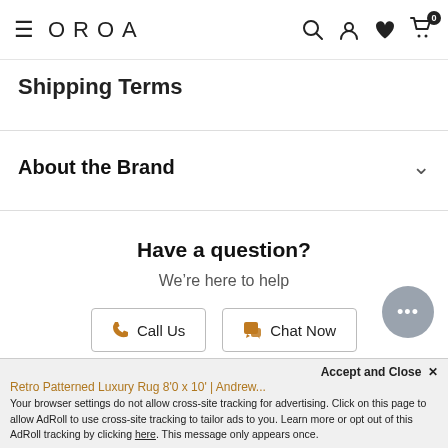OROA — navigation bar with hamburger menu, search, account, wishlist, and cart (0 items)
Shipping Terms
About the Brand
Have a question?
We're here to help
Call Us
Chat Now
Retro Patterned Luxury Rug 8'0 x 10' | Andrew...
Accept and Close ✕
Your browser settings do not allow cross-site tracking for advertising. Click on this page to allow AdRoll to use cross-site tracking to tailor ads to you. Learn more or opt out of this AdRoll tracking by clicking here. This message only appears once.